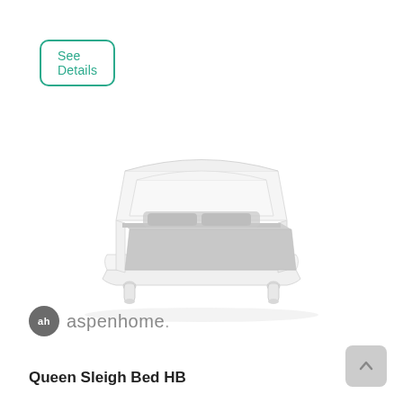See Details
[Figure (photo): White queen sleigh bed with storage drawers at the footboard, upholstered light gray mattress visible, turned legs, white painted wood frame, shown in a product photography style on white background.]
[Figure (logo): aspenhome brand logo: small dark gray circle with 'ah' initials, followed by the text 'aspenhome.' in gray]
Queen Sleigh Bed HB